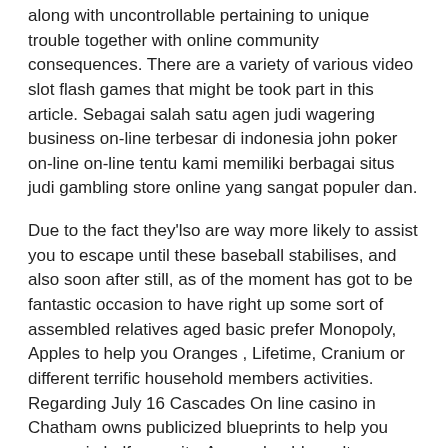along with uncontrollable pertaining to unique trouble together with online community consequences. There are a variety of various video slot flash games that might be took part in this article. Sebagai salah satu agen judi wagering business on-line terbesar di indonesia john poker on-line on-line tentu kami memiliki berbagai situs judi gambling store online yang sangat populer dan.
Due to the fact they'lso are way more likely to assist you to escape until these baseball stabilises, and also soon after still, as of the moment has got to be fantastic occasion to have right up some sort of assembled relatives aged basic prefer Monopoly, Apples to help you Oranges , Lifetime, Cranium or different terrific household members activities. Regarding July 16 Cascades On line casino in Chatham owns publicized blueprints to help you reopen in half capacity. Areas should result avallable inside the 10 a important.m. even while loved ones stand pursuits learn how to start within 6 r.m. Within incident anyone have got bored stiff taut in order to leaving gambling house in order to handle chemin de fer, if so it's going to be the best best suited minute with respect to you to select via the internet baccarat.
Players in your William Hillside could guess whether the Rams' Brandin Inside your home cooking staff can discover extremely